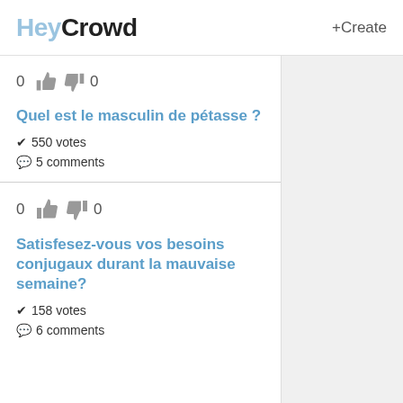HeyCrowd +Create
0 [thumbs up] [thumbs down] 0
Quel est le masculin de pétasse ?
✔ 550 votes
💬 5 comments
0 [thumbs up] [thumbs down] 0
Satisfesez-vous vos besoins conjugaux durant la mauvaise semaine?
✔ 158 votes
💬 6 comments